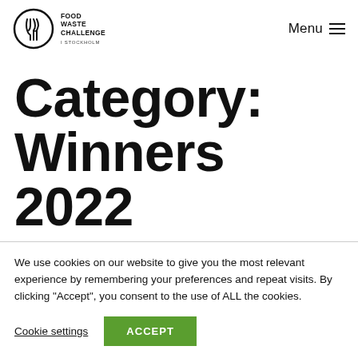Food Waste Challenge Stockholm | Menu
Category: Winners 2022
We use cookies on our website to give you the most relevant experience by remembering your preferences and repeat visits. By clicking “Accept”, you consent to the use of ALL the cookies.
Cookie settings | ACCEPT